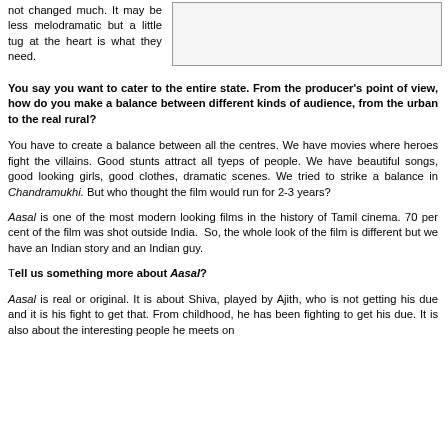not changed much. It may be less melodramatic but a little tug at the heart is what they need.
You say you want to cater to the entire state. From the producer's point of view, how do you make a balance between different kinds of audience, from the urban to the real rural?
You have to create a balance between all the centres. We have movies where heroes fight the villains. Good stunts attract all tyeps of people. We have beautiful songs, good looking girls, good clothes, dramatic scenes. We tried to strike a balance in Chandramukhi. But who thought the film would run for 2-3 years?
Aasal is one of the most modern looking films in the history of Tamil cinema. 70 per cent of the film was shot outside India.  So, the whole look of the film is different but we have an Indian story and an Indian guy.
Tell us something more about Aasal?
Aasal is real or original. It is about Shiva, played by Ajith, who is not getting his due and it is his fight to get that. From childhood, he has been fighting to get his due. It is also about the interesting people he meets on